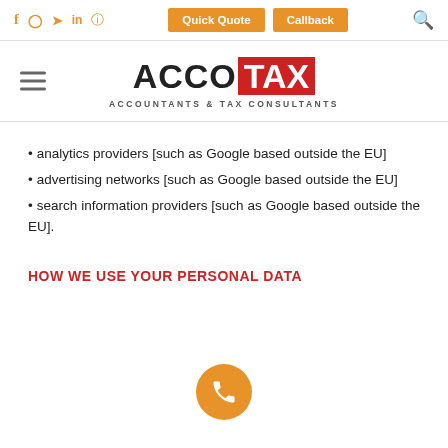Social icons: f, instagram, twitter, in, whatsapp | Quick Quote | Callback | Search
[Figure (logo): AccoTax logo — ACCO in black bold, TAX in white on red background, subtitle: ACCOUNTANTS & TAX CONSULTANTS]
analytics providers [such as Google based outside the EU]
advertising networks [such as Google based outside the EU]
search information providers [such as Google based outside the EU].
HOW WE USE YOUR PERSONAL DATA